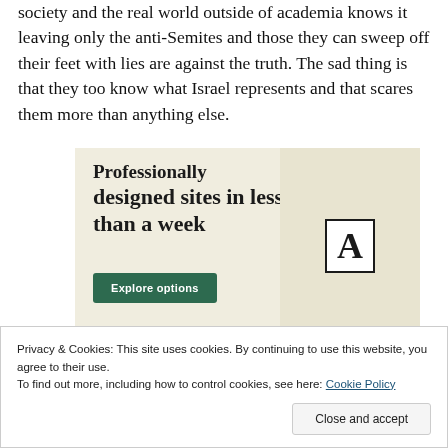society and the real world outside of academia knows it leaving only the anti-Semites and those they can sweep off their feet with lies are against the truth. The sad thing is that they too know what Israel represents and that scares them more than anything else.
[Figure (illustration): Advertisement banner with beige background showing text 'Professionally designed sites in less than a week' with a green 'Explore options' button and website mockup images on the right side.]
Privacy & Cookies: This site uses cookies. By continuing to use this website, you agree to their use.
To find out more, including how to control cookies, see here: Cookie Policy